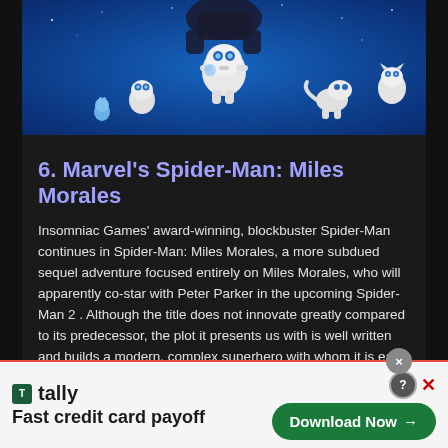[Figure (illustration): Hero image showing animated robot characters from PlayStation's Astro Bot game against a blue starry background, with a PS5 controller silhouette]
6. Marvel's Spider-Man: Miles Morales
Insomniac Games' award-winning, blockbuster Spider-Man continues in Spider-Man: Miles Morales, a more subdued sequel adventure focused entirely on Miles Morales, who will apparently co-star with Peter Parker in the upcoming Spider-Man 2 . Although the title does not innovate greatly compared to its predecessor, the plot it presents us with is well written and builds a modern, complex superhero with whom it is easy to empathize. In addition, Moles Morales has unique abilities compared to Parker, which is why he varies a combat system that is still hilarious.
[Figure (advertisement): Tally app advertisement banner. Logo with green square icon. Text: 'Fast credit card payoff'. Green 'Download Now' button with arrow. Close (X) and help (?) buttons.]